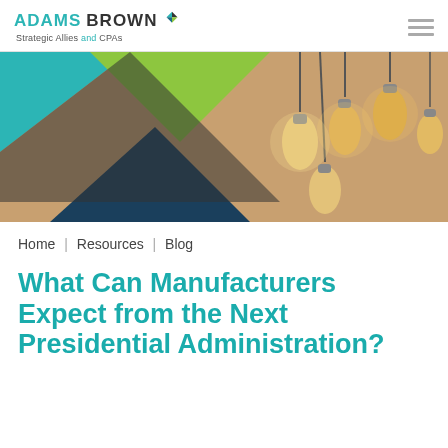[Figure (logo): Adams Brown Strategic Allies and CPAs logo with teal and dark windmill/compass icon]
[Figure (photo): Hero banner image with geometric teal, green, and dark blue triangle shapes on left and vintage Edison bulbs hanging from ceiling on right]
Home | Resources | Blog
What Can Manufacturers Expect from the Next Presidential Administration?